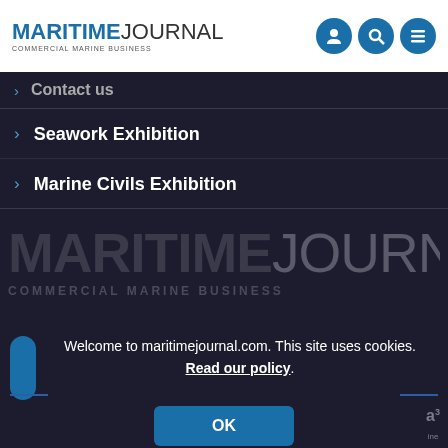MARITIME JOURNAL — COMMERCIAL MARINE BUSINESS
Contact us (partially visible)
Seawork Exhibition
Marine Civils Exhibition
[Figure (logo): Large Maritime Journal watermark logo with text MARITIMEJOURNAL and COMMERCIAL MARINE BUSINESS]
Welcome to maritimejournal.com. This site uses cookies. Read our policy.
OK